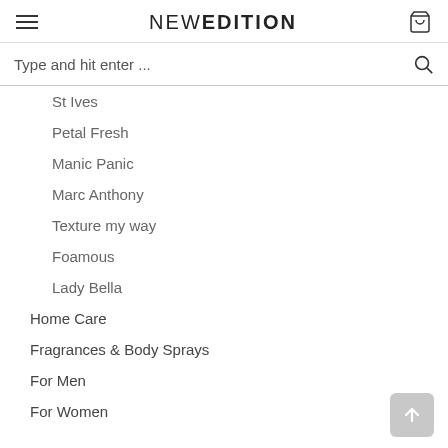NEW EDITION
Type and hit enter ...
St Ives
Petal Fresh
Manic Panic
Marc Anthony
Texture my way
Foamous
Lady Bella
Home Care
Fragrances & Body Sprays
For Men
For Women